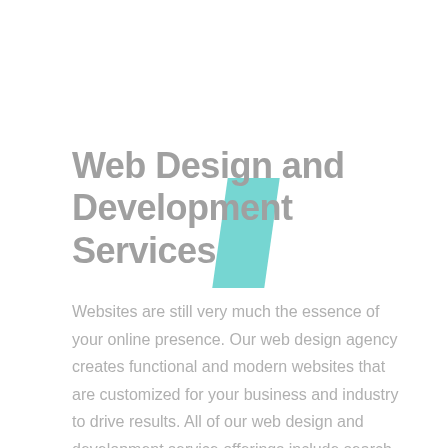Web Design and Development Services
[Figure (illustration): Decorative teal/mint colored parallelogram shape overlapping the title text]
Websites are still very much the essence of your online presence. Our web design agency creates functional and modern websites that are customized for your business and industry to drive results. All of our web design and development service offerings include search engine optimization (SEO), mobile-